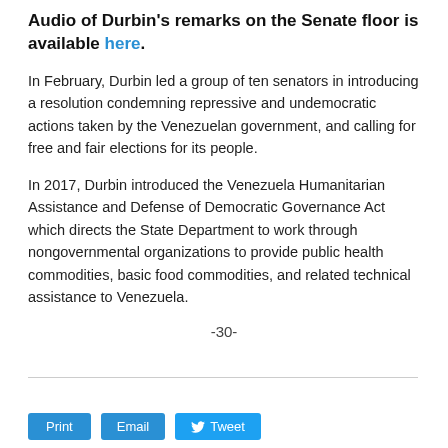Audio of Durbin's remarks on the Senate floor is available here.
In February, Durbin led a group of ten senators in introducing a resolution condemning repressive and undemocratic actions taken by the Venezuelan government, and calling for free and fair elections for its people.
In 2017, Durbin introduced the Venezuela Humanitarian Assistance and Defense of Democratic Governance Act which directs the State Department to work through nongovernmental organizations to provide public health commodities, basic food commodities, and related technical assistance to Venezuela.
-30-
Print  Email  Tweet